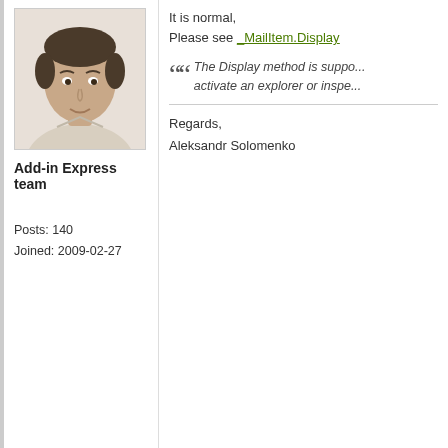[Figure (photo): Photo of Aleksandr Solomenko, a man with short dark hair wearing a light-colored shirt]
Add-in Express team
Posts: 140
Joined: 2009-02-27
It is normal,
Please see _MailItem.Display
The Display method is suppo... activate an explorer or inspe...
Regards,
Aleksandr Solomenko
Posted 01 Sep, 2010 09:13:42
Robin Anderson
[Figure (illustration): Generic user avatar placeholder (silhouette of a person)]
Thanks for the pointer Aleksandr.

I've tried what you suggested in th...

[1] oMessage.Activate;
[2] oMessage.Activate( True );
[3] oOutlook.Activate; // Outlook ap...

I get error message "Method Activa... snippet demonstrating the use...